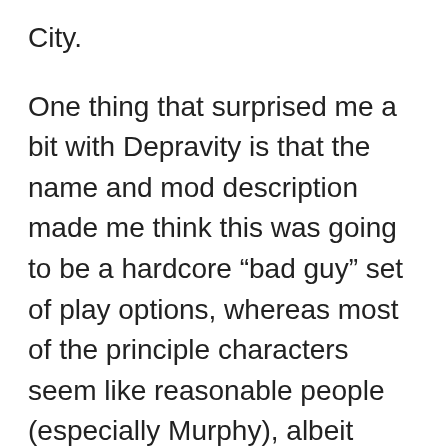City.
One thing that surprised me a bit with Depravity is that the name and mod description made me think this was going to be a hardcore “bad guy” set of play options, whereas most of the principle characters seem like reasonable people (especially Murphy), albeit ruthless. There are certainly still new ways to play a darker character in this mod, but I guess I would say it struck me as less overtly “bad guy” and